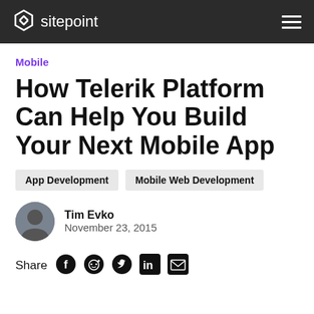sitepoint
Mobile
How Telerik Platform Can Help You Build Your Next Mobile App
App Development
Mobile Web Development
Tim Evko
November 23, 2015
Share